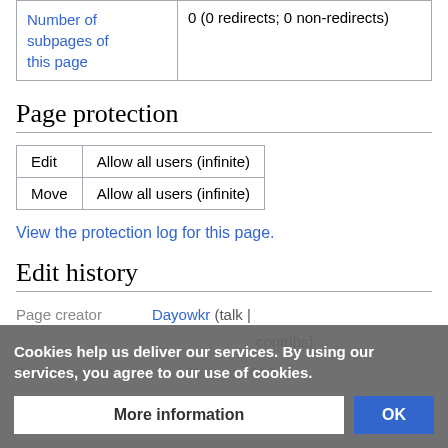|  |  |
| --- | --- |
| Number of subpages of this page | 0 (0 redirects; 0 non-redirects) |
Page protection
| Edit | Allow all users (infinite) |
| --- | --- |
| Move | Allow all users (infinite) |
View the protection log for this page.
Edit history
Page creator  Dayowkr (talk | contribs)
Date of page creation  21 June 2019
Cookies help us deliver our services. By using our services, you agree to our use of cookies.